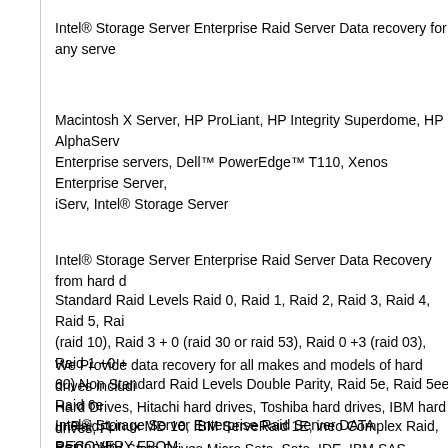Intel® Storage Server Enterprise Raid Server Data recovery for any serve
Macintosh X Server, HP ProLiant, HP Integrity Superdome, HP AlphaServ Enterprise servers, Dell™ PowerEdge™ T110, Xenos Enterprise Server, iServ, Intel® Storage Server
Intel® Storage Server Enterprise Raid Server Data Recovery from hard d
Standard Raid Levels Raid 0, Raid 1, Raid 2, Raid 3, Raid 4, Raid 5, Rai (raid 10), Raid 3 + 0 (raid 30 or raid 53), Raid 0 +3 (raid 03), Raid 1 +0 + 60) Non Standard Raid Levels Double Parity, Raid 5e, Raid 5ee, Raid 6e unRaid, Linux MD 10, IBM ServeRaid 1E, ineo Complex Raid, Raidn, No
We Provide data recovery for all makes and models of hard drives includi Hard Drives, Hitachi hard drives, Toshiba hard drives, IBM hard drives, Fr SSD, Solid State Drives Micro Sata, Sata, IDE, IBM SAS, Seagate SAS, SCSI, Compaq SCSI, Fugitsu SCSI, SUN SCSI, SAS hard drives, Sata H SSD, Solid State Drives Micro Sata, Sata, IDE, IBM SAS, Seagate SAS, SCSI, Compaq SCSI, Fugitsu SCSI, SUN SCSI, SAS hard drives, Sata H
Intel® Storage Server Enterprise Raid Server DATA RECOVERY FROM systems :